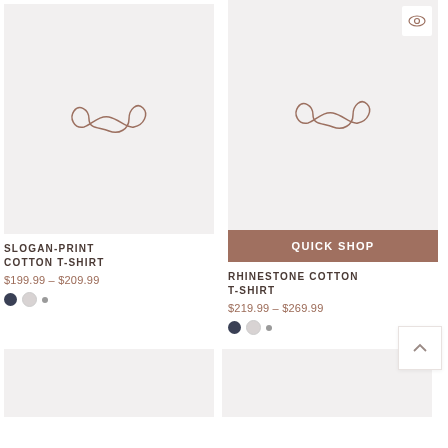[Figure (photo): Product image placeholder for Slogan-Print Cotton T-Shirt with infinity-like logo on light gray background]
[Figure (photo): Product image placeholder for Rhinestone Cotton T-Shirt with infinity-like logo on light gray background, with Quick Shop button overlay and eye icon]
SLOGAN-PRINT COTTON T-SHIRT
$199.99 – $209.99
RHINESTONE COTTON T-SHIRT
$219.99 – $269.99
[Figure (photo): Bottom left product image placeholder]
[Figure (photo): Bottom right product image placeholder]